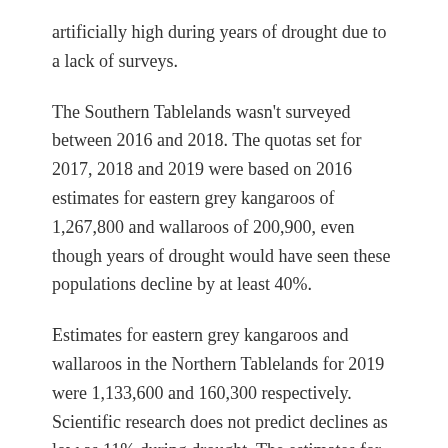artificially high during years of drought due to a lack of surveys.
The Southern Tablelands wasn't surveyed between 2016 and 2018. The quotas set for 2017, 2018 and 2019 were based on 2016 estimates for eastern grey kangaroos of 1,267,800 and wallaroos of 200,900, even though years of drought would have seen these populations decline by at least 40%.
Estimates for eastern grey kangaroos and wallaroos in the Northern Tablelands for 2019 were 1,133,600 and 160,300 respectively. Scientific research does not predict declines as low as 11% during drought. The estimates for the Northern Tablelands are seriously flawed.